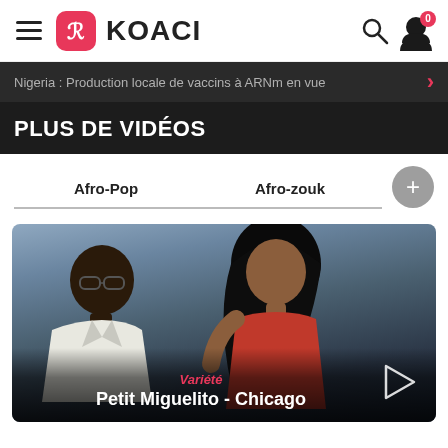KOACI
Nigeria : Production locale de vaccins à ARNm en vue
PLUS DE VIDÉOS
Afro-Pop    Afro-zouk
[Figure (photo): Video thumbnail showing a couple - a man and a woman in a romantic pose against a cloudy sky background. Category label 'Variété' in pink and title 'Petit Miguelito - Chicago' in white with a play button arrow on the right.]
Variété
Petit Miguelito - Chicago